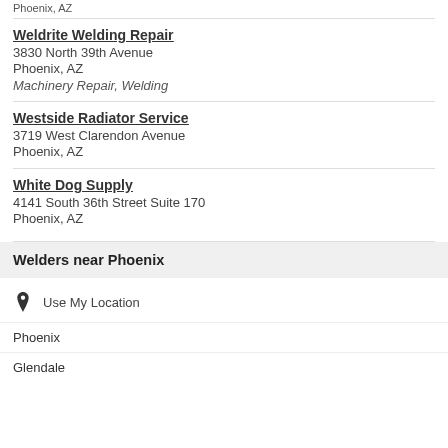Phoenix, AZ
Weldrite Welding Repair
3830 North 39th Avenue
Phoenix, AZ
Machinery Repair, Welding
Westside Radiator Service
3719 West Clarendon Avenue
Phoenix, AZ
White Dog Supply
4141 South 36th Street Suite 170
Phoenix, AZ
Welders near Phoenix
Use My Location
Phoenix
Glendale